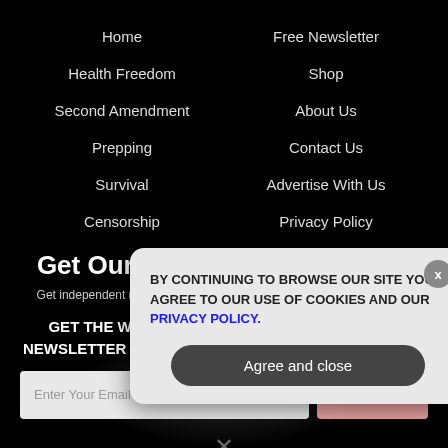Home
Free Newsletter
Health Freedom
Shop
Second Amendment
About Us
Prepping
Contact Us
Survival
Advertise With Us
Censorship
Privacy Policy
Get Our Free Email Newsletter
Get independent news alerts on natural cures, food lab tests, cannabis
GET THE WORLD'S MOST INDEPENDENT MEDIA NEWSLETTER DELIVERED STRAIGHT TO YOUR INBOX.
Enter Your Email Address
SUBSCRIBE
[Figure (screenshot): Cookie consent popup with text: BY CONTINUING TO BROWSE OUR SITE YOU AGREE TO OUR USE OF COOKIES AND OUR PRIVACY POLICY. with Agree and close button and X close button]
X